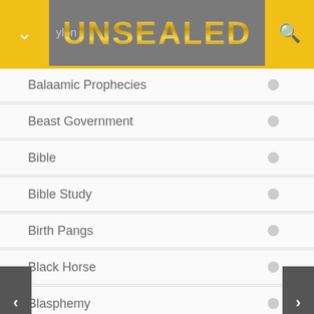UNSEALED
Balaamic Prophecies
Beast Government
Bible
Bible Study
Birth Pangs
Black Horse
Blasphemy
Blood Moon
Brazil
Breaking News